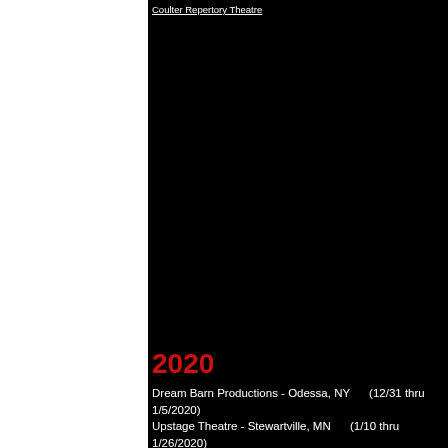Coulter Repertory Theatre
[Figure (photo): Large dark/black image area occupying the central portion of the page]
2020
Dream Barn Productions - Odessa, NY     (12/31 thru 1/5/2020)
Upstage Theatre - Stewartville, MN     (1/10 thru 1/26/2020)
Mt. Juliet High School - Mount Juliet,